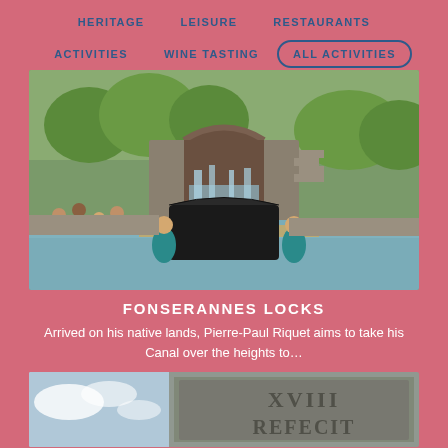HERITAGE   LEISURE   RESTAURANTS
ACTIVITIES   WINE TASTING   ALL ACTIVITIES
[Figure (photo): Two women in teal dresses sitting beside a grand piano on a floating platform in front of the Fonserannes Locks on the Canal du Midi, with water cascading through the lock gates and spectators watching from the banks]
FONSERANNES LOCKS
Arrived on his native lands, Pierre-Paul Riquet aims to take his Canal over the heights to…
[Figure (photo): Close-up of a stone pillar with Roman numeral inscription 'XVIII REFECIT' against a blue sky with clouds]